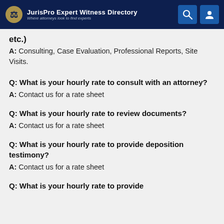JurisPro Expert Witness Directory — Where attorneys look to find experts
etc.)
A: Consulting, Case Evaluation, Professional Reports, Site Visits.
Q: What is your hourly rate to consult with an attorney?
A: Contact us for a rate sheet
Q: What is your hourly rate to review documents?
A: Contact us for a rate sheet
Q: What is your hourly rate to provide deposition testimony?
A: Contact us for a rate sheet
Q: What is your hourly rate to provide...